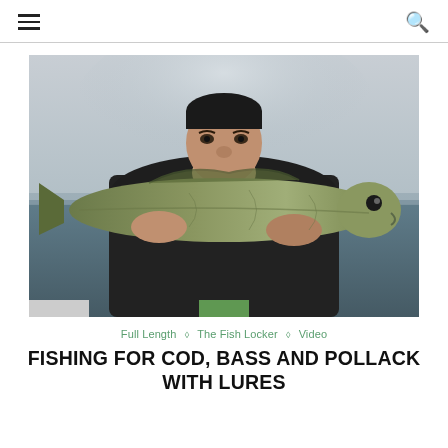≡ [menu] [search]
[Figure (photo): A man on a boat holding up a large pollock or bass fish with both hands, face partially obscured behind the fish. Ocean and overcast sky in background.]
Full Length ◇ The Fish Locker ◇ Video
FISHING FOR COD, BASS AND POLLACK WITH LURES